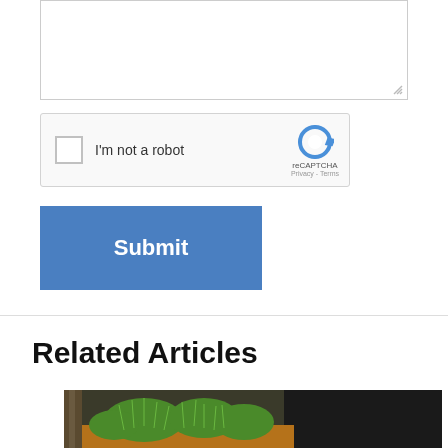[Figure (screenshot): Text area input box (partially visible at top of page) with resize handle at bottom right]
[Figure (screenshot): reCAPTCHA widget with checkbox labeled 'I'm not a robot' and reCAPTCHA logo with Privacy and Terms links]
[Figure (screenshot): Blue Submit button]
Related Articles
[Figure (photo): Outdoor photograph showing green grass/plants with a dark vehicle in the background]